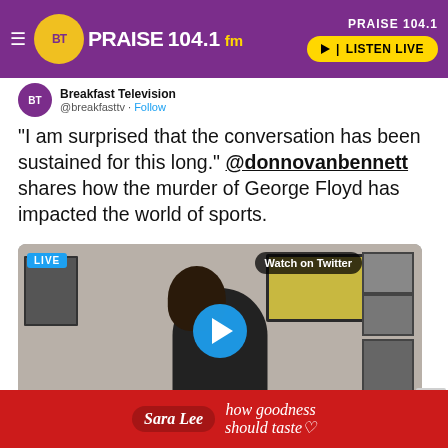PRAISE 104.1 fm — LISTEN LIVE
“I am surprised that the conversation has been sustained for this long.” @donnovanbennett shares how the murder of George Floyd has impacted the world of sports.
[Figure (screenshot): Embedded Twitter LIVE video showing a man in a black shirt in front of a wall with framed pictures. Badge says LIVE in top left, Watch on Twitter button in top right, play button in center.]
[Figure (advertisement): Sara Lee advertisement with red background and text 'how goodness should taste']